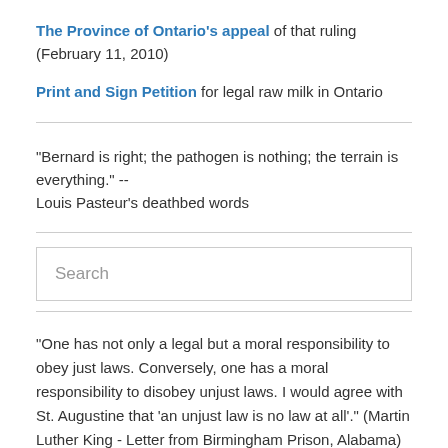The Province of Ontario's appeal of that ruling (February 11, 2010)
Print and Sign Petition for legal raw milk in Ontario
"Bernard is right; the pathogen is nothing; the terrain is everything." -- Louis Pasteur's deathbed words
Search
"One has not only a legal but a moral responsibility to obey just laws. Conversely, one has a moral responsibility to disobey unjust laws. I would agree with St. Augustine that 'an unjust law is no law at all'." (Martin Luther King - Letter from Birmingham Prison, Alabama)